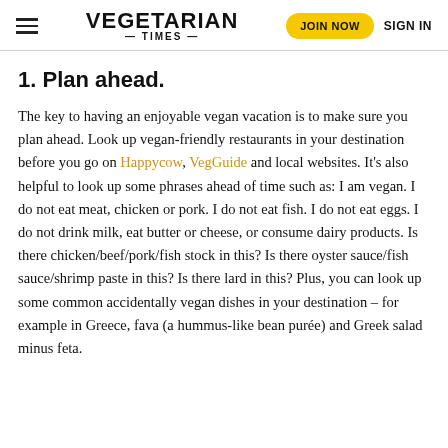VEGETARIAN TIMES | JOIN NOW | SIGN IN
1. Plan ahead.
The key to having an enjoyable vegan vacation is to make sure you plan ahead. Look up vegan-friendly restaurants in your destination before you go on Happycow, VegGuide and local websites. It’s also helpful to look up some phrases ahead of time such as: I am vegan. I do not eat meat, chicken or pork. I do not eat fish. I do not eat eggs. I do not drink milk, eat butter or cheese, or consume dairy products. Is there chicken/beef/pork/fish stock in this? Is there oyster sauce/fish sauce/shrimp paste in this? Is there lard in this? Plus, you can look up some common accidentally vegan dishes in your destination – for example in Greece, fava (a hummus-like bean purée) and Greek salad minus feta.